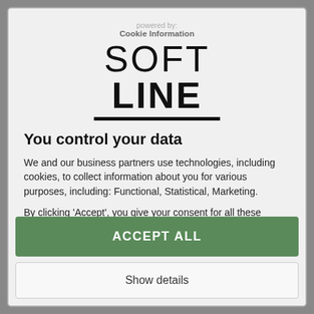powered by:
Cookie Information
SOFT LINE
You control your data
We and our business partners use technologies, including cookies, to collect information about you for various purposes, including: Functional, Statistical, Marketing.
By clicking 'Accept', you give your consent for all these purposes. You can also choose to specify the purposes you consent to by
ACCEPT ALL
Show details